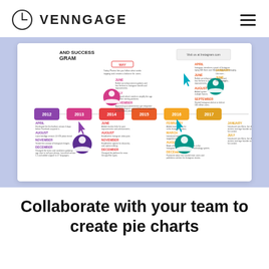VENNGAGE
[Figure (screenshot): A Venngage infographic template showing a timeline titled 'AND SUCCESS GRAM' with years 2012, 2013, 2014, 2015, 2016, 2017 displayed as colored milestone markers. The timeline includes monthly event entries (April, June, July, August, September, November, December) with user avatar icons in red, purple, teal, and cyan. A small box in the upper right reads 'Visit us at Instagram.com'. The background is light blue/lavender.]
Collaborate with your team to create pie charts